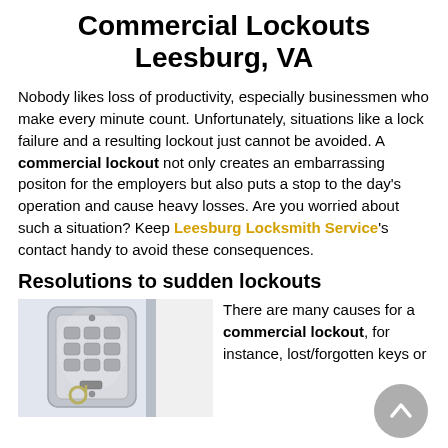Commercial Lockouts Leesburg, VA
Nobody likes loss of productivity, especially businessmen who make every minute count. Unfortunately, situations like a lock failure and a resulting lockout just cannot be avoided. A commercial lockout not only creates an embarrassing positon for the employers but also puts a stop to the day's operation and cause heavy losses. Are you worried about such a situation? Keep Leesburg Locksmith Service's contact handy to avoid these consequences.
Resolutions to sudden lockouts
[Figure (photo): A chrome/silver digital combination lock keypad on a door]
There are many causes for a commercial lockout, for instance, lost/forgotten keys or